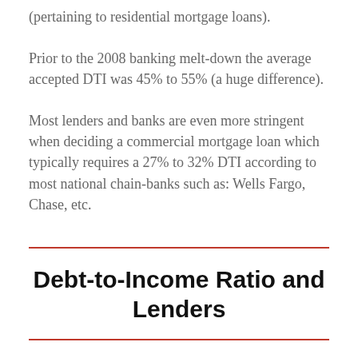(pertaining to residential mortgage loans).
Prior to the 2008 banking melt-down the average accepted DTI was 45% to 55% (a huge difference).
Most lenders and banks are even more stringent when deciding a commercial mortgage loan which typically requires a 27% to 32% DTI according to most national chain-banks such as: Wells Fargo, Chase, etc.
Debt-to-Income Ratio and Lenders